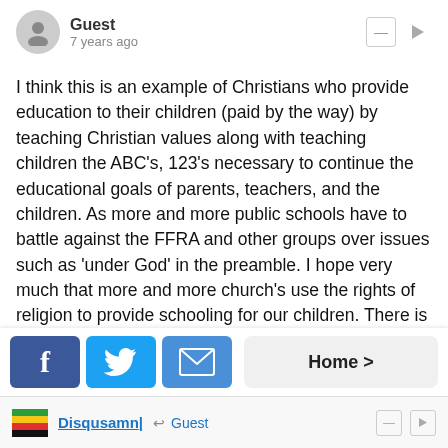Guest · 7 years ago
I think this is an example of Christians who provide education to their children (paid by the way) by teaching Christian values along with teaching children the ABC's, 123's necessary to continue the educational goals of parents, teachers, and the children. As more and more public schools have to battle against the FFRA and other groups over issues such as 'under God' in the preamble. I hope very much that more and more church's use the rights of religion to provide schooling for our children. There is a big movement by Christians to say no more. Hate, anger, and confusion has no place in education, and yet it happens more often now then ever. I believe its time for it to stop. When you have a Satanist group forcing a public school to stop the use of Bibles by threatening to post cult like literature, something has got to change. If you believe in Christ, I don't see any reason not to express it, or sign a form especially in a school sponsored by a group of Christian people. That would go for these two teachers
Home >